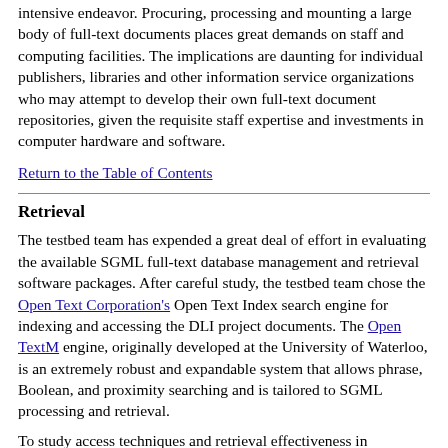intensive endeavor. Procuring, processing and mounting a large body of full-text documents places great demands on staff and computing facilities. The implications are daunting for individual publishers, libraries and other information service organizations who may attempt to develop their own full-text document repositories, given the requisite staff expertise and investments in computer hardware and software.
Return to the Table of Contents
Retrieval
The testbed team has expended a great deal of effort in evaluating the available SGML full-text database management and retrieval software packages. After careful study, the testbed team chose the Open Text Corporation's Open Text Index search engine for indexing and accessing the DLI project documents. The Open TextM engine, originally developed at the University of Waterloo, is an extremely robust and expandable system that allows phrase, Boolean, and proximity searching and is tailored to SGML processing and retrieval.
To study access techniques and retrieval effectiveness in conjunction with these full-text journals, the testbed team has designed and implemented a prototype client-server system with a front-end client written in Visual Basic 3.0 for a Microsoft